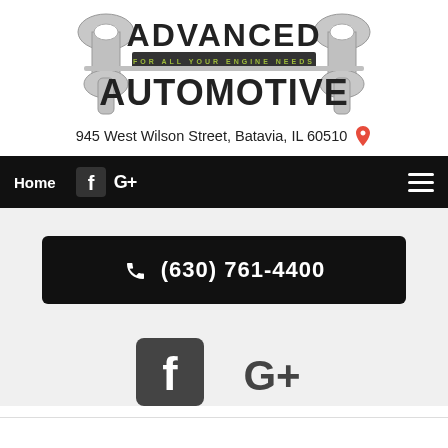[Figure (logo): Advanced Automotive logo with two wrenches and tagline 'FOR ALL YOUR ENGINE NEEDS']
945 West Wilson Street, Batavia, IL 60510 📍
Home | Facebook | Google+ | ☰
📞 (630) 761-4400
[Figure (illustration): Facebook and Google+ social media icons]